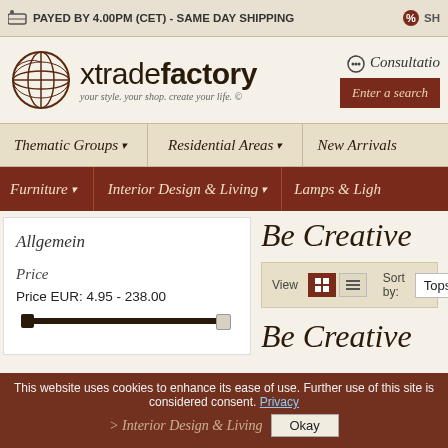PAYED BY 4.00PM (CET) - SAME DAY SHIPPING
[Figure (logo): xtradefactory logo - globe icon with text 'xtradefactory' and tagline 'your style. your shop. create your life. ©']
Consultation
Enter a search
Thematic Groups ▾   Residential Areas ▾   New Arrivals
Furniture ▾   Interior Design & Living ▾   Lamps & Lighting
Allgemein
Price
Price EUR: 4.95 - 238.00
Be Creative
View
Sort by:
Topseller
Be Creative
This website uses cookies to enhance its ease of use. Further use of this site is considered consent. Privacy
Okay
Interior Design & Living